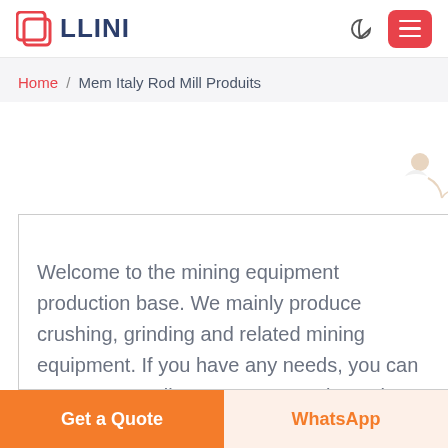LLINI
Home / Mem Italy Rod Mill Produits
[Figure (illustration): Customer service person illustration with Free chat button]
Welcome to the mining equipment production base. We mainly produce crushing, grinding and related mining equipment. If you have any needs, you can contact our online customer service or leave a message through the form below.
Get a Quote
WhatsApp